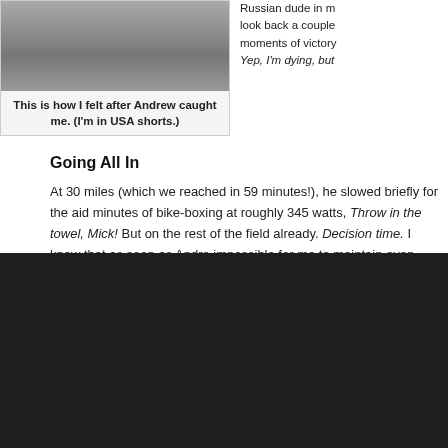[Figure (photo): Photo of cyclists at a race, person in USA shorts visible]
This is how I felt after Andrew caught me. (I'm in USA shorts.)
Russian dude in m look back a couple moments of victory Yep, I'm dying, but
Going All In
At 30 miles (which we reached in 59 minutes!), he slowed briefly for the aid minutes of bike-boxing at roughly 345 watts, Throw in the towel, Mick! But on the rest of the field already. Decision time. I knew that as soon as Andre impossible for me to maintain even close to this pace. I was pushing so far do it to myself without having him in sight to motivate me. At the rate he wa gap if I let him go now. I risked blowing up, but my only chance of winning was all in.
[Figure (photo): Dark/black image block at bottom of page]